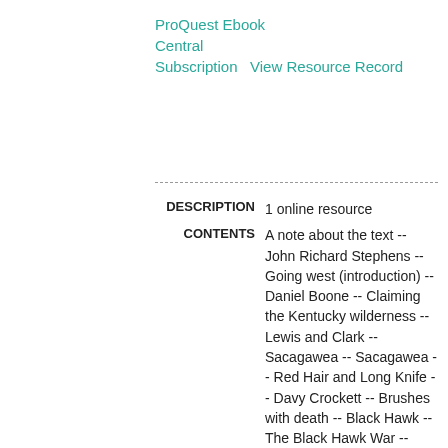ProQuest Ebook Central Subscription   View Resource Record
DESCRIPTION   1 online resource
CONTENTS   A note about the text -- John Richard Stephens -- Going west (introduction) -- Daniel Boone -- Claiming the Kentucky wilderness -- Lewis and Clark -- Sacagawea -- Sacagawea -- Red Hair and Long Knife -- Davy Crockett -- Brushes with death -- Black Hawk -- The Black Hawk War --